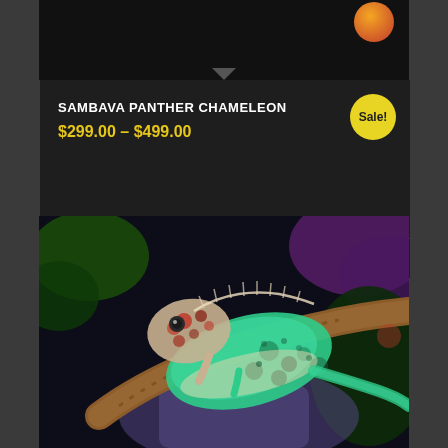[Figure (photo): Top partial product card image area showing dark background with orange/red orb in top right corner and a downward-pointing triangle indicator at bottom center]
SAMBAVA PANTHER CHAMELEON
$299.00 – $499.00
Sale!
Select options
[Figure (photo): Close-up photograph of a Sambava Panther Chameleon clinging to a branch. The chameleon displays vibrant teal/green coloring with orange-red and brown spots/markings on its head and body. Background shows purple and dark green foliage.]